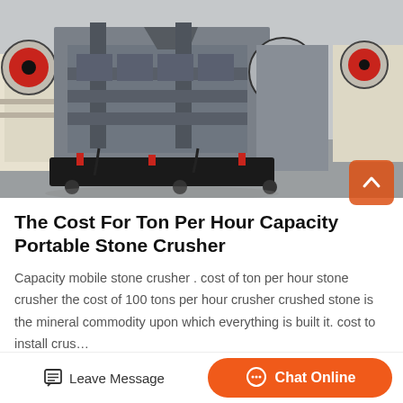[Figure (photo): Industrial jaw crushers in a factory setting. Multiple large grey machines with red flywheels arranged on a concrete floor. Black base frames visible at bottom.]
The Cost For Ton Per Hour Capacity Portable Stone Crusher
Capacity mobile stone crusher . cost of ton per hour stone crusher the cost of 100 tons per hour crusher crushed stone is the mineral commodity upon which everything is built it. cost to install crus…